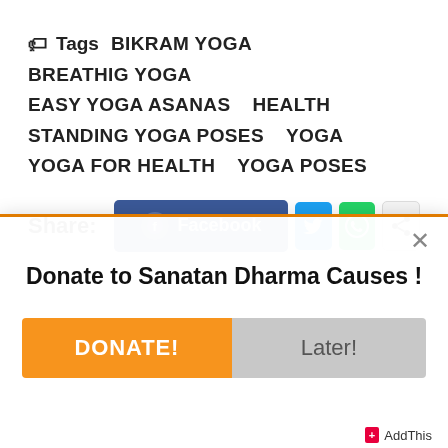Tags  BIKRAM YOGA  BREATHIG YOGA  EASY YOGA ASANAS  HEALTH  STANDING YOGA POSES  YOGA  YOGA FOR HEALTH  YOGA POSES
Share: Facebook (social share buttons)
[Figure (screenshot): Popup dialog: 'Donate to Sanatan Dharma Causes !' with DONATE! (orange) and Later! (gray) buttons, and an AddThis branding bar at bottom right. Close (x) button at top right.]